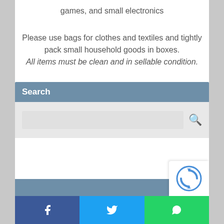games, and small electronics
Please use bags for clothes and textiles and tightly pack small household goods in boxes. All items must be clean and in sellable condition.
Search
[Figure (infographic): Social share bar with Facebook, Twitter, and WhatsApp buttons]